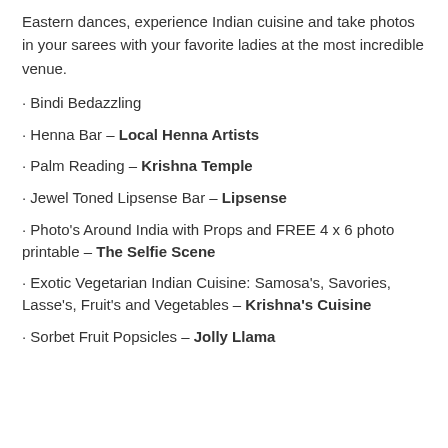Eastern dances, experience Indian cuisine and take photos in your sarees with your favorite ladies at the most incredible venue.
Bindi Bedazzling
Henna Bar – Local Henna Artists
Palm Reading – Krishna Temple
Jewel Toned Lipsense Bar – Lipsense
Photo's Around India with Props and FREE 4 x 6 photo printable – The Selfie Scene
Exotic Vegetarian Indian Cuisine: Samosa's, Savories, Lasse's, Fruit's and Vegetables – Krishna's Cuisine
Sorbet Fruit Popsicles – Jolly Llama